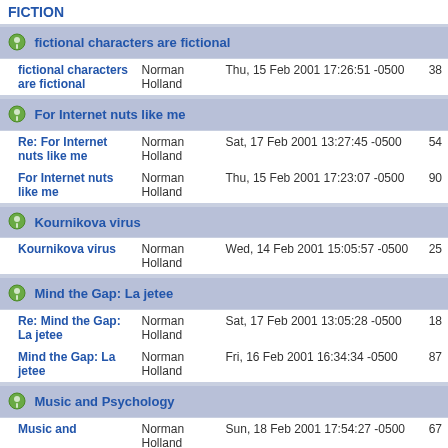FICTION
fictional characters are fictional
| Topic | Author | Date | # |
| --- | --- | --- | --- |
| fictional characters are fictional | Norman Holland | Thu, 15 Feb 2001 17:26:51 -0500 | 38 |
| Re: For Internet nuts like me | Norman Holland | Sat, 17 Feb 2001 13:27:45 -0500 | 54 |
| For Internet nuts like me | Norman Holland | Thu, 15 Feb 2001 17:23:07 -0500 | 90 |
| Kournikova virus | Norman Holland | Wed, 14 Feb 2001 15:05:57 -0500 | 25 |
| Re: Mind the Gap: La jetee | Norman Holland | Sat, 17 Feb 2001 13:05:28 -0500 | 18 |
| Mind the Gap: La jetee | Norman Holland | Fri, 16 Feb 2001 16:34:34 -0500 | 87 |
| Music and | Norman Holland | Sun, 18 Feb 2001 17:54:27 -0500 | 67 |